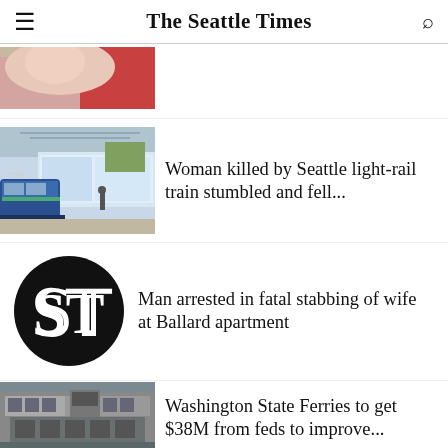The Seattle Times
[Figure (photo): Partial image of a woman's face with red clothing, cropped at top]
[Figure (photo): Seattle light rail train at a station platform]
Woman killed by Seattle light-rail train stumbled and fell...
[Figure (logo): Seattle Times circular logo with ST initials in old English style]
Man arrested in fatal stabbing of wife at Ballard apartment
[Figure (photo): Washington State Ferry vessel docked, mechanical view]
Washington State Ferries to get $38M from feds to improve...